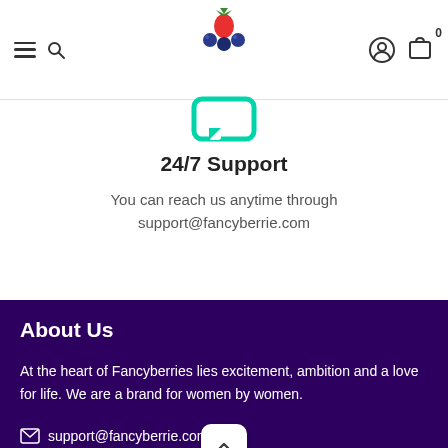Fancyberrie website header with hamburger menu, search icon, logo, user icon, cart icon with badge 0
[Figure (logo): Fancyberries logo with fruit and teal bracket icon]
24/7 Support
You can reach us anytime through support@fancyberrie.com
About Us
At the heart of Fancyberries lies excitement, ambition and a love for life. We are a brand for women by women.
support@fancyberrie.com